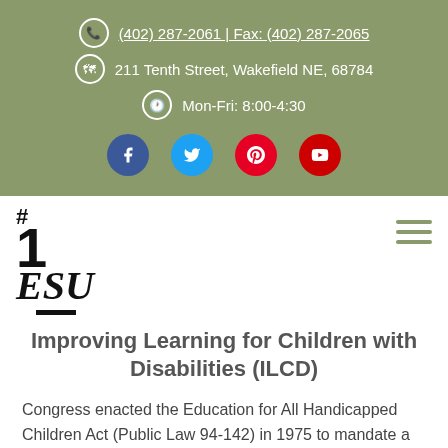(402) 287-2061 | Fax: (402) 287-2065 | 211 Tenth Street, Wakefield NE, 68784 | Mon-Fri: 8:00-4:30
[Figure (logo): ESU #1 logo with large bold '1' and stylized 'ESU' text]
Improving Learning for Children with Disabilities (ILCD)
Congress enacted the Education for All Handicapped Children Act (Public Law 94-142) in 1975 to mandate a free appropriate public education (FAPE) for all children regardless of their disabilities...